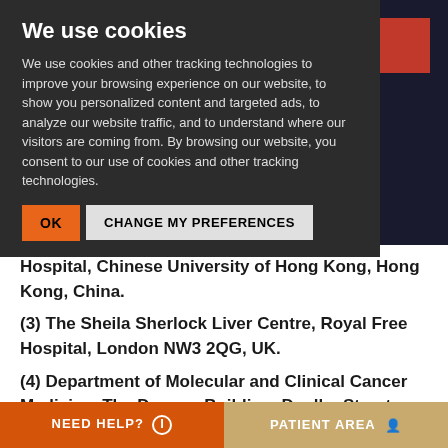We use cookies
We use cookies and other tracking technologies to improve your browsing experience on our website, to show you personalized content and targeted ads, to analyze our website traffic, and to understand where our visitors are coming from. By browsing our website, you consent to our use of cookies and other tracking technologies.
OK   CHANGE MY PREFERENCES
...gery, Prince of Wales Hospital, Chinese University of Hong Kong, Hong Kong, China.
(3) The Sheila Sherlock Liver Centre, Royal Free Hospital, London NW3 2QG, UK.
(4) Department of Molecular and Clinical Cancer Medicine, The Duncan Building, Daulby Street, University of Liverpool, Liverpool L69 3GA, UK.
NEED HELP?   PATIENT AREA